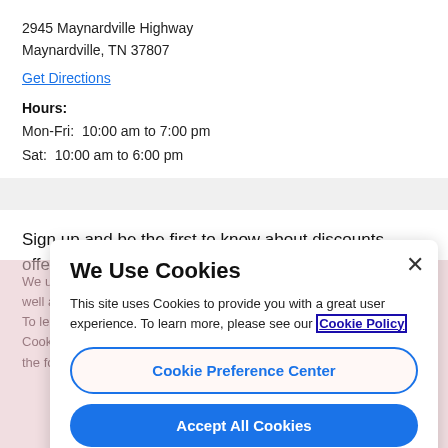2945 Maynardville Highway
Maynardville, TN 37807
Get Directions
Hours:
Mon-Fri:  10:00 am to 7:00 pm
Sat:  10:00 am to 6:00 pm
Sign up and be the first to know about discounts, offers and more.
We Use Cookies
This site uses Cookies to provide you with a great user experience. To learn more, please see our Cookie Policy
Cookie Preference Center
Accept All Cookies